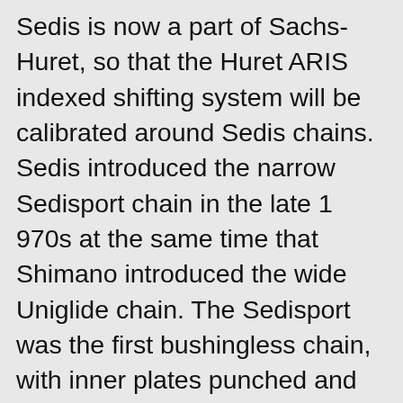Sedis is now a part of Sachs-Huret, so that the Huret ARIS indexed shifting system will be calibrated around Sedis chains. Sedis introduced the narrow Sedisport chain in the late 1 970s at the same time that Shimano introduced the wide Uniglide chain. The Sedisport was the first bushingless chain, with inner plates punched and upset to form bushings. This construction gives a very flexible chain. The Sedisport has flat parallel outer plates and bulged inner plates. It's one of the strongest chains made. It really excels on close-ratio, narrow-spaced seven-sprocket racing freewheels.